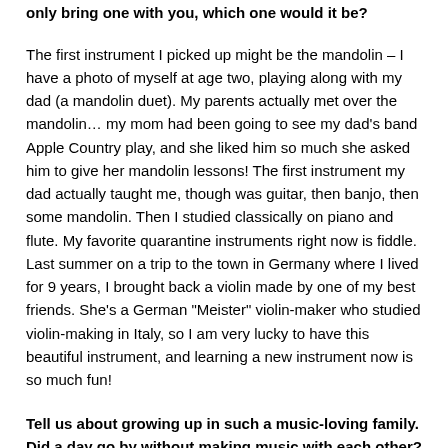only bring one with you, which one would it be?
The first instrument I picked up might be the mandolin – I have a photo of myself at age two, playing along with my dad (a mandolin duet).  My parents actually met over the mandolin… my mom had been going to see my dad's band Apple Country play, and she liked him so much she asked him to give her mandolin lessons!  The first instrument my dad actually taught me, though was guitar, then banjo, then some mandolin.  Then I studied classically on piano and flute.  My favorite quarantine instruments right now is fiddle.  Last summer on a trip to the town in Germany where I lived for 9 years, I brought back a violin made by one of my best friends.  She's a German "Meister" violin-maker who studied violin-making in Italy, so I am very lucky to have this beautiful instrument, and learning a new instrument now is so much fun!
Tell us about growing up in such a music-loving family.  Did a day go by without making music with each other?
I think I didn't always appreciate my music-loving family as much as I